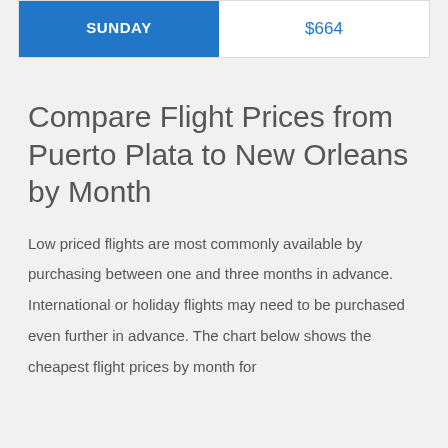| Day | Price |
| --- | --- |
| SUNDAY | $664 |
Compare Flight Prices from Puerto Plata to New Orleans by Month
Low priced flights are most commonly available by purchasing between one and three months in advance. International or holiday flights may need to be purchased even further in advance. The chart below shows the cheapest flight prices by month for